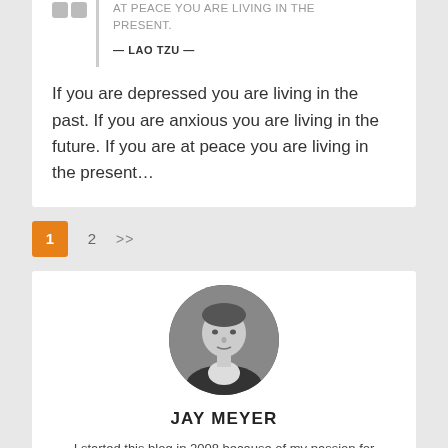AT PEACE YOU ARE LIVING IN THE PRESENT.
— LAO TZU —
If you are depressed you are living in the past. If you are anxious you are living in the future. If you are at peace you are living in the present…
1   2   >>
[Figure (photo): Circular black and white headshot photo of Jay Meyer, a middle-aged man in a suit]
JAY MEYER
I started this blog in 2008 because of my passion for helping others take their lives to the next level. My hope is that, through sharing my life experiences as a business leader, husband, father, and recovering drug addict, I will positively impact your life.